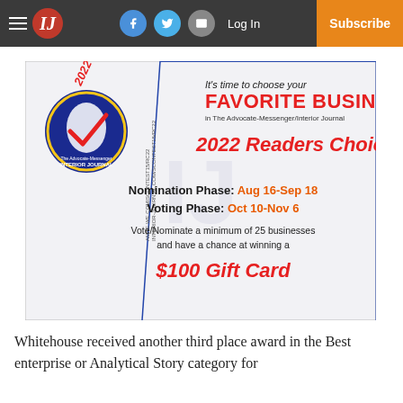IJ — Interior Journal — Log In — Subscribe
[Figure (infographic): 2022 Readers Choice advertisement for The Advocate-Messenger/Interior Journal. Features circular logo with state silhouette and checkmark, text 'It's time to choose your FAVORITE BUSINESS'. Nomination Phase: Aug 16-Sep 18, Voting Phase: Oct 10-Nov 6. Vote/Nominate a minimum of 25 businesses and have a chance at winning a $100 Gift Card.]
Whitehouse received another third place award in the Best enterprise or Analytical Story category for